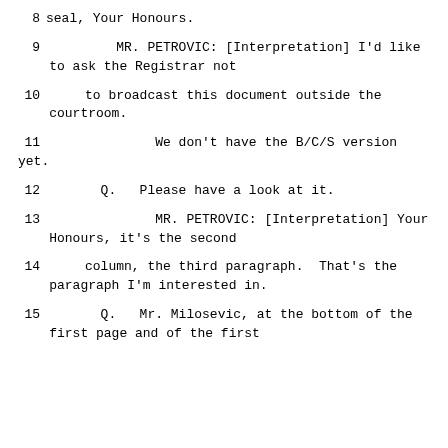8    seal, Your Honours.
9        MR. PETROVIC: [Interpretation] I'd like to ask the Registrar not
10     to broadcast this document outside the courtroom.
11             We don't have the B/C/S version yet.
12       Q.   Please have a look at it.
13             MR. PETROVIC: [Interpretation] Your Honours, it's the second
14     column, the third paragraph.  That's the paragraph I'm interested in.
15       Q.   Mr. Milosevic, at the bottom of the first page and of the first